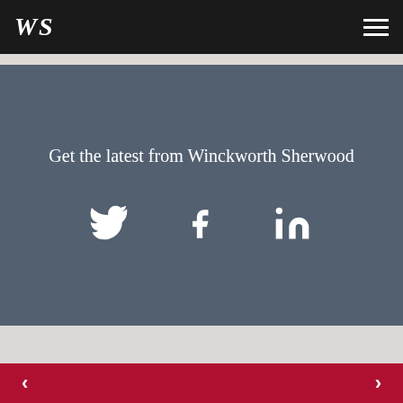WS
Get the latest from Winckworth Sherwood
[Figure (other): Social media icons: Twitter bird, Facebook f, LinkedIn in]
< >